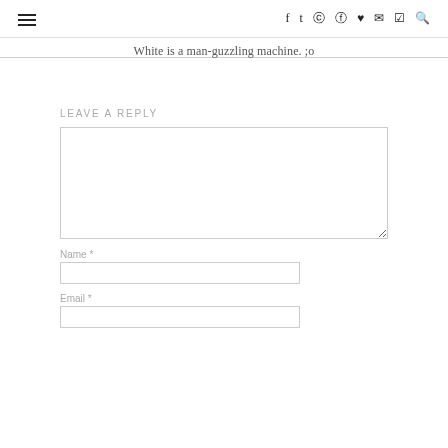≡ f t ⊡ ℗ ♥ ✉ )) 🔍
White is a man-guzzling machine. ;o
LEAVE A REPLY
Name *
Email *